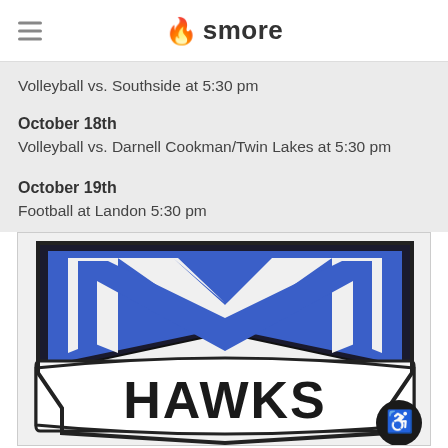smore
Volleyball vs. Southside at 5:30 pm
October 18th
Volleyball vs. Darnell Cookman/Twin Lakes at 5:30 pm
October 19th
Football at Landon 5:30 pm
[Figure (logo): Hawks school logo with large blue M letter and HAWKS text on a shield banner]